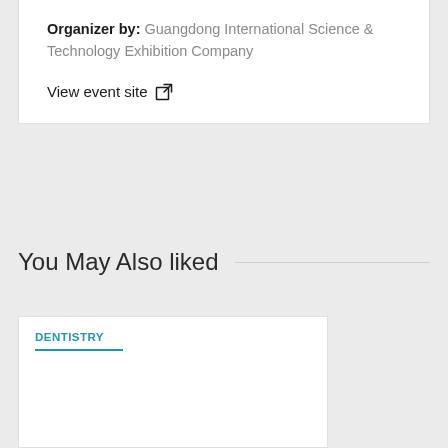Organizer by: Guangdong International Science & Technology Exhibition Company
View event site
You May Also liked
DENTISTRY